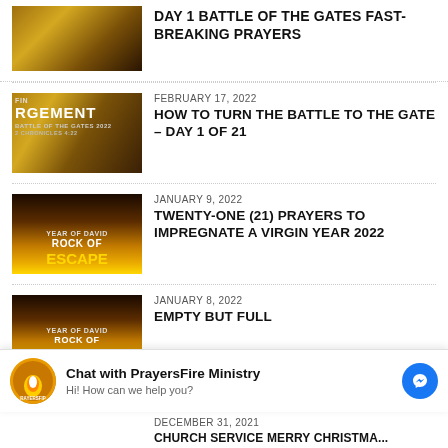[Figure (photo): Warrior/gladiator thumbnail image]
DAY 1 BATTLE OF THE GATES FAST-BREAKING PRAYERS
[Figure (photo): Gladiator battle scene thumbnail with text FINAL JUDGEMENT]
FEBRUARY 17, 2022
HOW TO TURN THE BATTLE TO THE GATE – DAY 1 OF 21
[Figure (photo): Rock of Escape Year of David thumbnail]
JANUARY 9, 2022
TWENTY-ONE (21) PRAYERS TO IMPREGNATE A VIRGIN YEAR 2022
[Figure (photo): Rock of Escape Year of David thumbnail]
JANUARY 8, 2022
EMPTY BUT FULL
[Figure (screenshot): Chat with PrayersFire Ministry widget]
DECEMBER 31, 2021